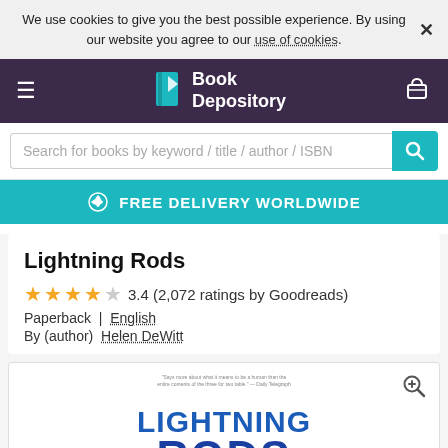We use cookies to give you the best possible experience. By using our website you agree to our use of cookies.
[Figure (screenshot): Book Depository website navigation bar with hamburger menu, Book Depository logo with teal book icon, and shopping basket icon on dark purple background]
Search for books by keyword / title / author / ISBN
FREE DELIVERY WORLDWIDE
Lightning Rods
3.4 (2,072 ratings by Goodreads)
Paperback  |  English
By (author)  Helen DeWitt
[Figure (photo): Book cover of Lightning Rods by Helen DeWitt showing large blue text LIGHTNING RODS on white background]